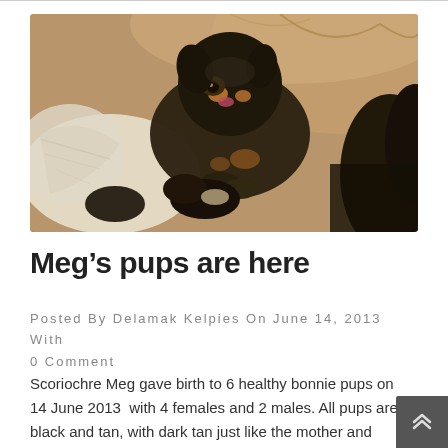[Figure (photo): Photograph of puppies (kelpie pups) in a nest/basket. A dark brown/black puppy with tan markings is prominent in the center, with other smaller pups around it on a cream-colored blanket.]
Meg’s pups are here
Posted By Delamak Kelpies On June 14, 2013 With 0 Comment
Scoriochre Meg gave birth to 6 healthy bonnie pups on 14 June 2013 with 4 females and 2 males. All pups are black and tan, with dark tan just like the mother and